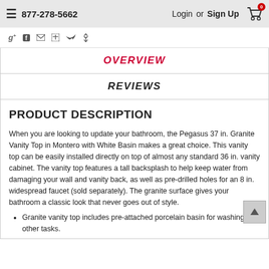877-278-5662   Login or Sign Up   Cart 0
[Figure (screenshot): Social share icons row: Google+, Facebook, Email, Print, Twitter, Pinterest]
OVERVIEW
REVIEWS
PRODUCT DESCRIPTION
When you are looking to update your bathroom, the Pegasus 37 in. Granite Vanity Top in Montero with White Basin makes a great choice. This vanity top can be easily installed directly on top of almost any standard 36 in. vanity cabinet. The vanity top features a tall backsplash to help keep water from damaging your wall and vanity back, as well as pre-drilled holes for an 8 in. widespread faucet (sold separately). The granite surface gives your bathroom a classic look that never goes out of style.
Granite vanity top includes pre-attached porcelain basin for washing and other tasks.